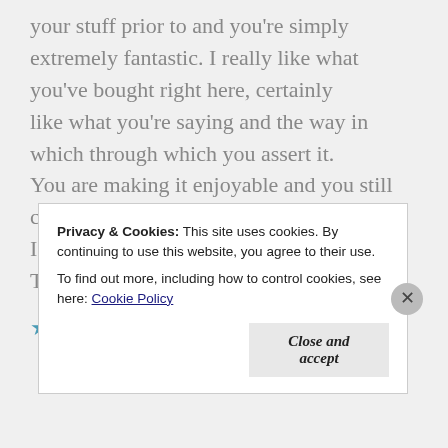your stuff prior to and you're simply extremely fantastic. I really like what you've bought right here, certainly like what you're saying and the way in which through which you assert it. You are making it enjoyable and you still care for to stay it sensible. I cant wait to learn much more from you. That is actually a terrific web site.
★ Like
Privacy & Cookies: This site uses cookies. By continuing to use this website, you agree to their use. To find out more, including how to control cookies, see here: Cookie Policy
Close and accept